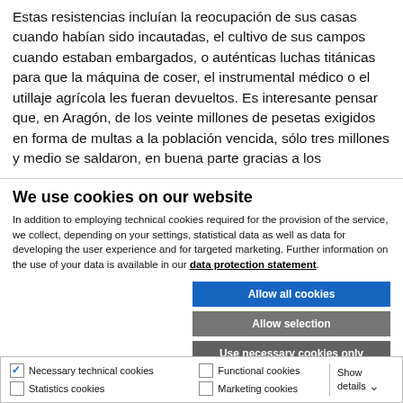Estas resistencias incluían la reocupación de sus casas cuando habían sido incautadas, el cultivo de sus campos cuando estaban embargados, o auténticas luchas titánicas para que la máquina de coser, el instrumental médico o el utillaje agrícola les fueran devueltos. Es interesante pensar que, en Aragón, de los veinte millones de pesetas exigidos en forma de multas a la población vencida, sólo tres millones y medio se saldaron, en buena parte gracias a los
We use cookies on our website
In addition to employing technical cookies required for the provision of the service, we collect, depending on your settings, statistical data as well as data for developing the user experience and for targeted marketing. Further information on the use of your data is available in our data protection statement.
Allow all cookies
Allow selection
Use necessary cookies only
Necessary technical cookies | Functional cookies | Statistics cookies | Marketing cookies | Show details